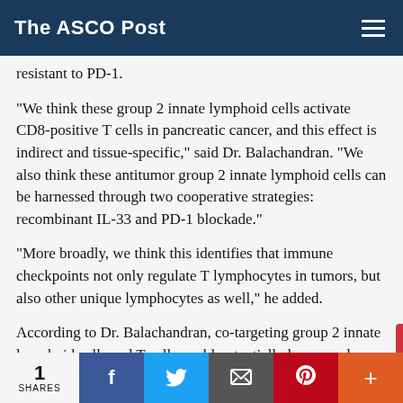The ASCO Post
resistant to PD-1.
“We think these group 2 innate lymphoid cells activate CD8-positive T cells in pancreatic cancer, and this effect is indirect and tissue-specific,” said Dr. Balachandran. “We also think these antitumor group 2 innate lymphoid cells can be harnessed through two cooperative strategies: recombinant IL-33 and PD-1 blockade.”
“More broadly, we think this identifies that immune checkpoints not only regulate T lymphocytes in tumors, but also other unique lymphocytes as well,” he added.
According to Dr. Balachandran, co-targeting group 2 innate lymphoid cells and T cells could potentially be a novel immunotherapeutic approach for cold cancers. The researchers are currently working on clinical recombinant
1 SHARES